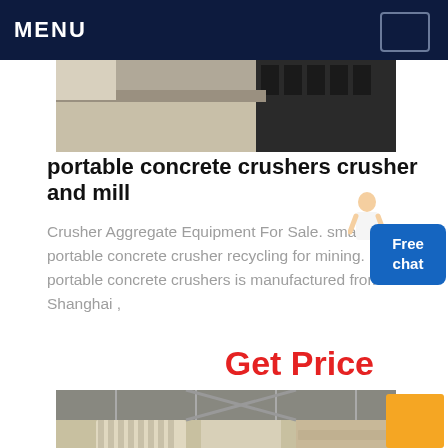MENU
[Figure (photo): Industrial crusher/mill machinery close-up showing metal parts and conveyor]
portable concrete crushers crusher and mill
Crusher Aggregate Equipment For Sale. small portable concrete crusher recycling for mining. mini portable concrete crushers is manufactured from Shanghai ,
Get Price
[Figure (photo): Industrial facility interior showing large crusher and mill equipment, cream-colored machinery in a warehouse setting]